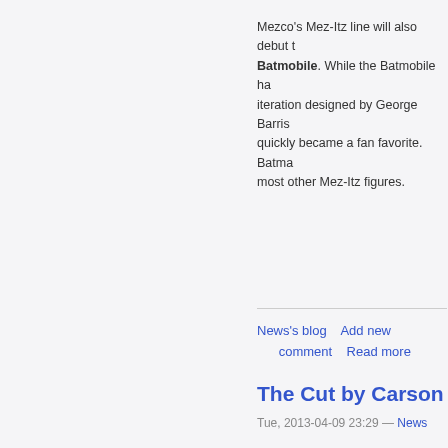Mezco's Mez-Itz line will also debut the Batmobile. While the Batmobile had many iteration designed by George Barris which quickly became a fan favorite. Batman most other Mez-Itz figures.
News's blog   Add new comment   Read more
The Cut by Carson Ca...
Tue, 2013-04-09 23:29 — News
[Figure (photo): Large opening quotation marks and partial dark curved shape (possibly a helmet or vehicle) at bottom right]